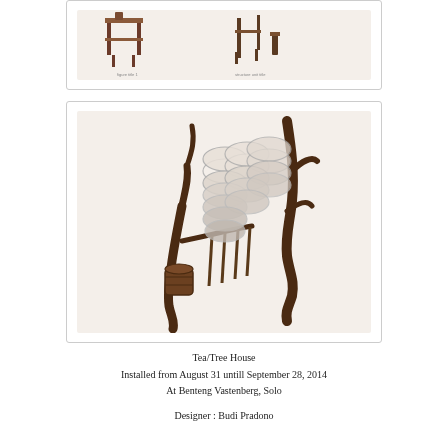[Figure (illustration): Top partial image showing architectural/design elements with dark brown structural components on a cream/off-white background, with small text labels at bottom]
[Figure (illustration): Main illustration showing an exploded or deconstructed view of the Tea/Tree House design: tree trunk branches (dark brown), a hexagonal honeycomb-like mesh structure (grey), vertical poles, and a cylindrical barrel/bucket element on a cream background. Isometric-style design drawing.]
Tea/Tree House
Installed from August 31 untill September 28, 2014
At Benteng Vastenberg, Solo

Designer : Budi Pradono